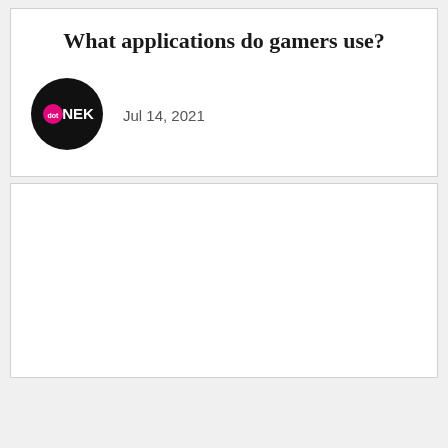What applications do gamers use?
Jul 14, 2021
[Figure (other): Empty white card placeholder below the article header]